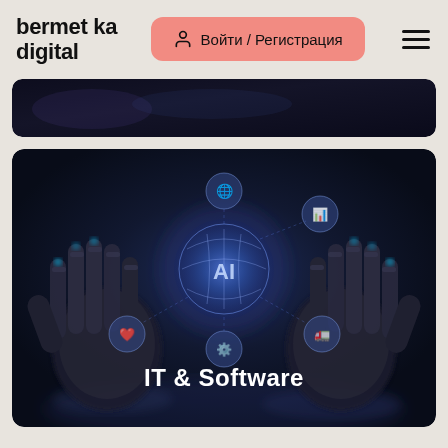bermet ka digital
Войти / Регистрация
[Figure (illustration): Dark banner strip at the top, partially visible, dark blue gradient background resembling a digital/tech scene.]
[Figure (photo): Robot hands holding a glowing AI sphere with floating circular icons and text 'IT & Software' in the center on dark blue background.]